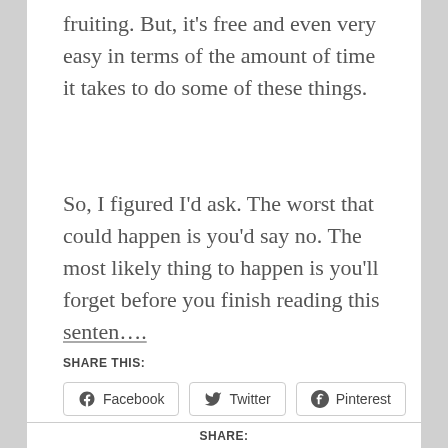fruiting. But, it’s free and even very easy in terms of the amount of time it takes to do some of these things.
So, I figured I’d ask. The worst that could happen is you’d say no. The most likely thing to happen is you’ll forget before you finish reading this senten….
SHARE THIS:
Facebook   Twitter   Pinterest
SHARE: